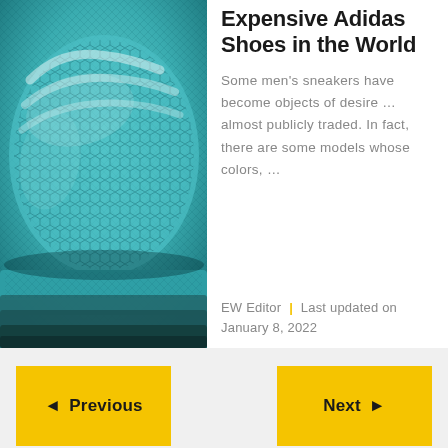[Figure (photo): Close-up photo of a teal/cyan Adidas shoe with distinctive mesh knit upper and layered sole construction]
Expensive Adidas Shoes in the World
Some men's sneakers have become objects of desire … almost publicly traded. In fact, there are some models whose colors, …
EW Editor | Last updated on January 8, 2022
◄ Previous
Next ►